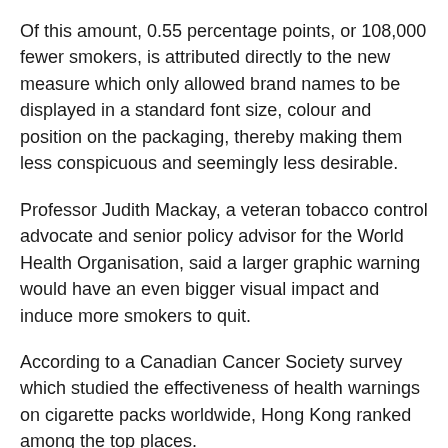Of this amount, 0.55 percentage points, or 108,000 fewer smokers, is attributed directly to the new measure which only allowed brand names to be displayed in a standard font size, colour and position on the packaging, thereby making them less conspicuous and seemingly less desirable.
Professor Judith Mackay, a veteran tobacco control advocate and senior policy advisor for the World Health Organisation, said a larger graphic warning would have an even bigger visual impact and induce more smokers to quit.
According to a Canadian Cancer Society survey which studied the effectiveness of health warnings on cigarette packs worldwide, Hong Kong ranked among the top places.
“We used to be among the top 12 jurisdictions [in cigarette pack warnings], but now we are lagging very far behind from the international experience,” said someone who has been working on tobacco control advocacy in the city for more than 30 years.
The survey done by the Canadian group looked at various factors, including whether graphic warnings existed on the packaging design, the size of the warnings, and when the warnings were introduced.